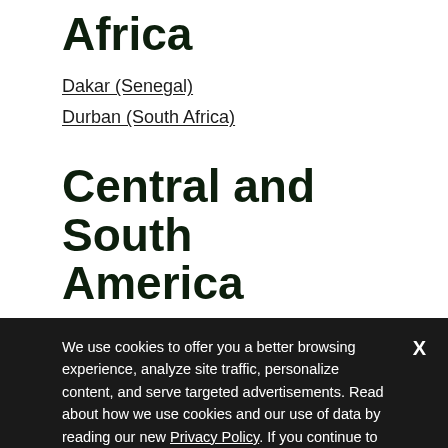Africa
Dakar (Senegal)
Durban (South Africa)
Central and South America
Medellín (Colombia)
Porto-Alegre (Brazil)
Quito (Ecuador)
We use cookies to offer you a better browsing experience, analyze site traffic, personalize content, and serve targeted advertisements. Read about how we use cookies and our use of data by reading our new Privacy Policy. If you continue to use this site, you